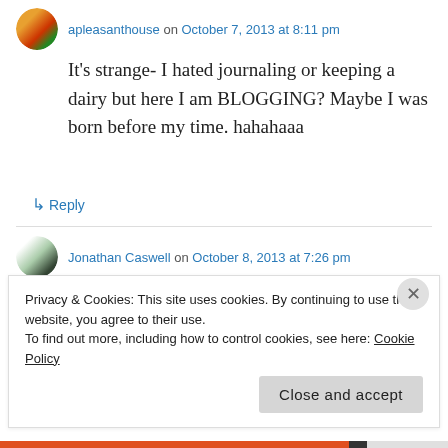apleasanthouse on October 7, 2013 at 8:11 pm
It's strange- I hated journaling or keeping a dairy but here I am BLOGGING? Maybe I was born before my time. hahahaaa
↳ Reply
Jonathan Caswell on October 8, 2013 at 7:26 pm
Reblogged this on By the Mighty Mumford and commented:
ALVES00000 — THE GROWING UP YEARS
Privacy & Cookies: This site uses cookies. By continuing to use this website, you agree to their use.
To find out more, including how to control cookies, see here: Cookie Policy
Close and accept